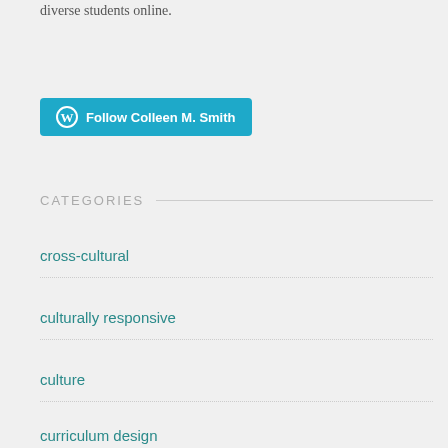diverse students online.
[Figure (other): WordPress Follow button for Colleen M. Smith]
CATEGORIES
cross-cultural
culturally responsive
culture
curriculum design
designer-by-assignment
digital learning